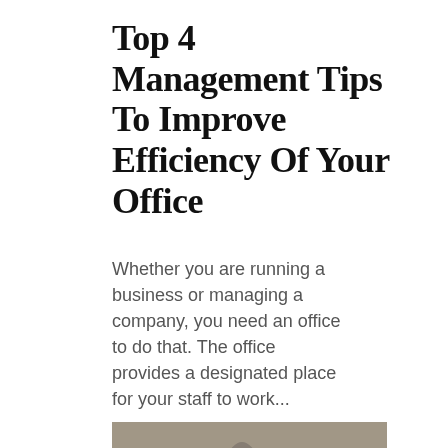Top 4 Management Tips To Improve Efficiency Of Your Office
Whether you are running a business or managing a company, you need an office to do that. The office provides a designated place for your staff to work...
[Figure (photo): A group of diverse business professionals seated in an audience, smiling and applauding at a conference or corporate event.]